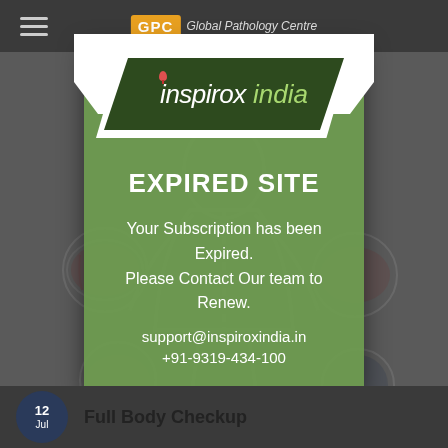[Figure (screenshot): Mobile app screenshot showing GPC Global Pathology Centre header with hamburger menu and logo]
[Figure (logo): Inspirox India logo - dark green parallelogram shape with white and light green text, location pin icon on the i]
EXPIRED SITE
Your Subscription has been Expired. Please Contact Our team to Renew.
support@inspiroxindia.in
+91-9319-434-100
Full Body Checkup